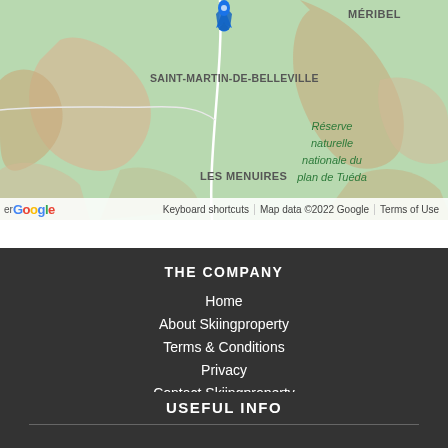[Figure (map): Google Maps aerial view showing Saint-Martin-de-Belleville with a blue location pin, Les Menuires, Méribel, and Réserve naturelle nationale du plan de Tuéda labeled on a green terrain map]
Home
About Skiingproperty
Terms & Conditions
Privacy
Contact Skiingproperty
HTML Sitemap
USEFUL INFO